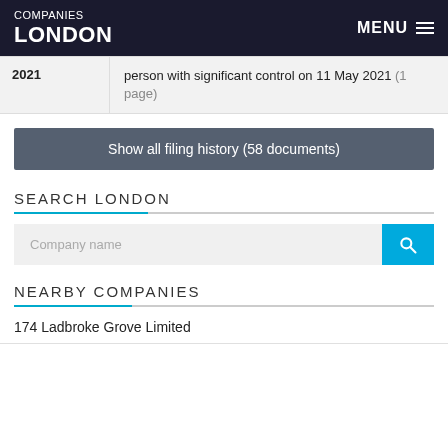COMPANIES LONDON  MENU
| Date | Description |
| --- | --- |
| 2021 | person with significant control on 11 May 2021 (1 page) |
Show all filing history (58 documents)
SEARCH LONDON
Company name
NEARBY COMPANIES
174 Ladbroke Grove Limited